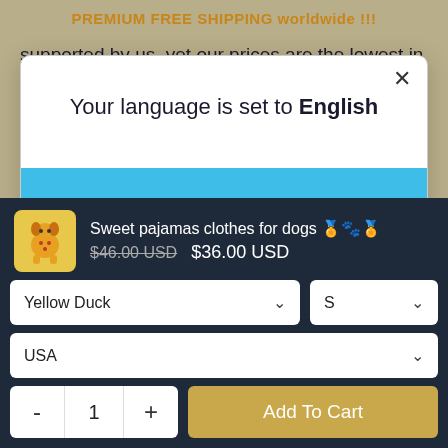PREMIUM FREE SHIPPING worldwide !!!
supported by us, yet our prices are the lowest in the pet industry.
Before contacting us about your pet supply queries
Your language is set to English
Sweet pajamas clothes for dogs 🏅🐾🏅   $46.00 USD  $36.00 USD
Yellow Duck
S
USA
- 1 +
Add To Cart